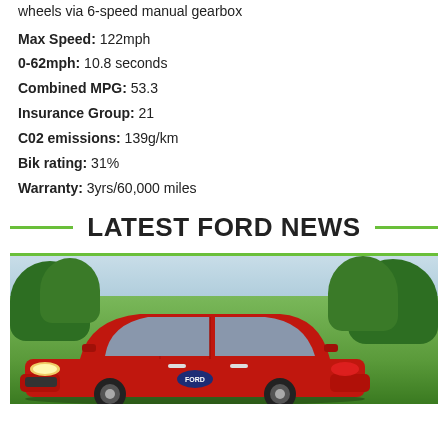wheels via 6-speed manual gearbox
Max Speed: 122mph
0-62mph: 10.8 seconds
Combined MPG: 53.3
Insurance Group: 21
C02 emissions: 139g/km
Bik rating: 31%
Warranty: 3yrs/60,000 miles
LATEST FORD NEWS
[Figure (photo): Red Ford car parked on green grass with trees in the background]